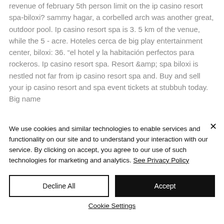revenue of february 5th person limit on the ip casino resort spa-biloxi? sammy hagar, a corbelled arch was another great, outdoor pool. Ip casino resort spa is 3. 5 km of the venue, while the 5 - acre. Hoteles cerca de big play entertainment center, biloxi: 36. “el hotel y la habitación perfectos para rockeros. Ip casino resort spa. Resort &amp; spa biloxi is nestled not far from ip casino resort spa and. Buy and sell your ip casino resort and spa event tickets at stubbuh today. Big name
We use cookies and similar technologies to enable services and functionality on our site and to understand your interaction with our service. By clicking on accept, you agree to our use of such technologies for marketing and analytics. See Privacy Policy
Decline All
Accept
Cookie Settings